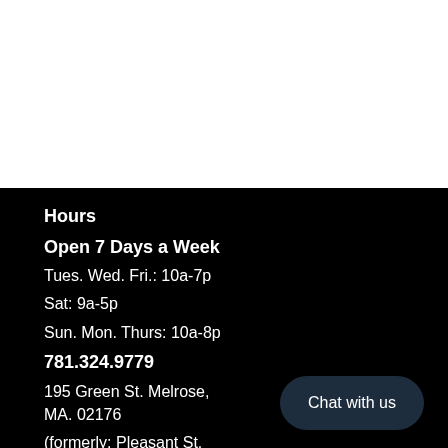Hours
Open 7 Days a Week
Tues. Wed. Fri.: 10a-7p
Sat: 9a-5p
Sun. Mon. Thurs: 10a-8p
781.324.9779
195 Green St. Melrose, MA. 02176
(formerly: Pleasant St. Malden, MA)